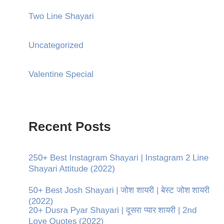Two Line Shayari
Uncategorized
Valentine Special
Recent Posts
250+ Best Instagram Shayari | Instagram 2 Line Shayari Attitude (2022)
50+ Best Josh Shayari | जोश शायरी | बेस्ट जोश शायरी (2022)
20+ Dusra Pyar Shayari | दूसरा प्यार शायरी | 2nd Love Quotes (2022)